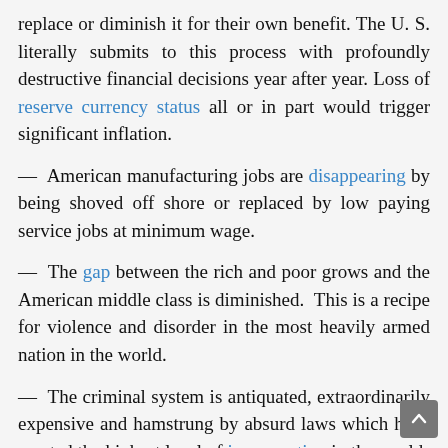replace or diminish it for their own benefit. The U. S. literally submits to this process with profoundly destructive financial decisions year after year. Loss of reserve currency status all or in part would trigger significant inflation.
— American manufacturing jobs are disappearing by being shoved off shore or replaced by low paying service jobs at minimum wage.
— The gap between the rich and poor grows and the American middle class is diminished. This is a recipe for violence and disorder in the most heavily armed nation in the world.
— The criminal system is antiquated, extraordinarily expensive and hamstrung by absurd laws which have created the highest level of incarceration in the world.
— Perhaps well intention legislative and judicial blunders resulted in the granting of “personhood” status to